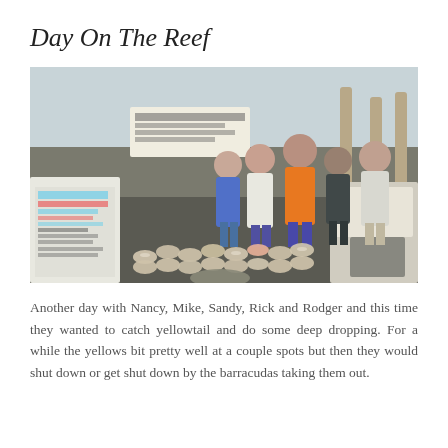Day On The Reef
[Figure (photo): Group of five people (Nancy, Mike, Sandy, Rick and Rodger) standing on a dock behind a large display of yellowtail fish laid out on the ground. A sign reading 'EVENING SNOOK & TARPON TRIP' is visible on the left. The dock has a marina background with boats and pilings.]
Another day with Nancy, Mike, Sandy, Rick and Rodger and this time they wanted to catch yellowtail and do some deep dropping. For a while the yellows bit pretty well at a couple spots but then they would shut down or get shut down by the barracudas taking them out.